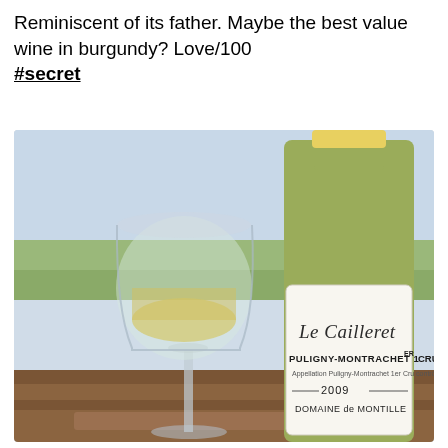Reminiscent of its father. Maybe the best value wine in burgundy? Love/100 #secret
[Figure (photo): Photo of a wine glass with white wine and a bottle of Puligny-Montrachet 1er Cru 'Le Cailleret' 2009 by Domaine de Montille, set outdoors on a wooden surface with a countryside landscape in the background.]